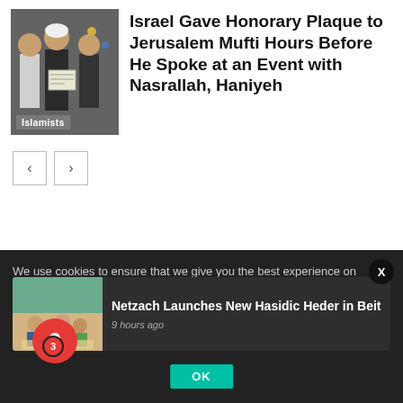[Figure (photo): Thumbnail photo showing people, labeled 'Islamists']
Israel Gave Honorary Plaque to Jerusalem Mufti Hours Before He Spoke at an Event with Nasrallah, Haniyeh
[Figure (photo): Navigation previous and next arrow buttons]
We use cookies to ensure that we give you the best experience on our website. If yo
[Figure (photo): Notification popup with thumbnail image, title 'Netzach Launches New Hasidic Heder in Beit', time '9 hours ago']
Netzach Launches New Hasidic Heder in Beit
9 hours ago
OK